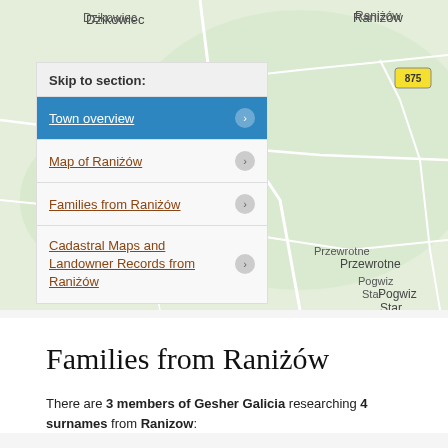[Figure (map): Map showing the area around Raniżów, Poland, with place names including Dzikowiec, Nowy Dzikowiec, Raniżów, Pogwizd Stary, Przewrotne, and road 875. Green terrain with white roads.]
Skip to section:
Town overview
Map of Raniżów
Families from Raniżów
Cadastral Maps and Landowner Records from Raniżów
Families from Raniżów
There are 3 members of Gesher Galicia researching 4 surnames from Ranizow: